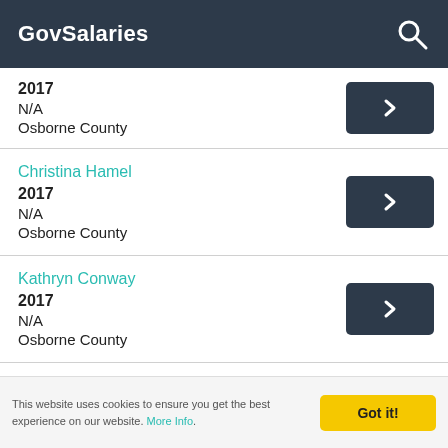GovSalaries
2017
N/A
Osborne County
Christina Hamel
2017
N/A
Osborne County
Kathryn Conway
2017
N/A
Osborne County
This website uses cookies to ensure you get the best experience on our website. More Info.